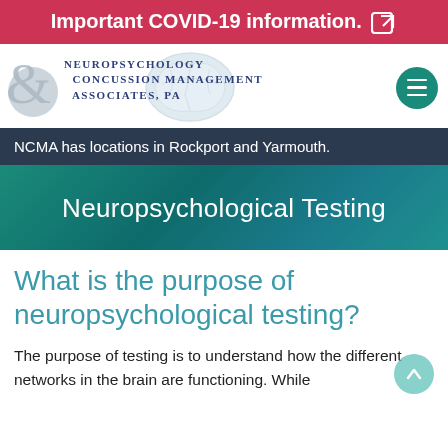Important COVID-19 information.
[Figure (logo): Neuropsychology & Concussion Management Associates, PA logo with brain illustration and hamburger menu icon]
NCMA has locations in Rockport and Yarmouth.
Neuropsychological Testing
What is the purpose of neuropsychological testing?
The purpose of testing is to understand how the different networks in the brain are functioning. While